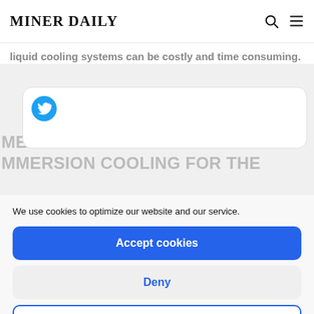MINER DAILY
liquid cooling systems can be costly and time consuming.
[Figure (screenshot): Tweet card with Twitter bird icon]
MEANWHILE IN IRAN... IMMERSION COOLING FOR THE
We use cookies to optimize our website and our service.
Accept cookies
Deny
View preferences
Cookie Policy  Privacy Policy